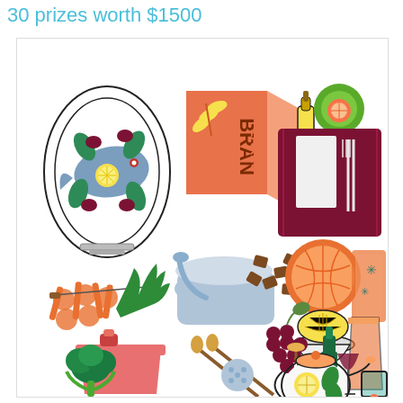30 prizes worth $1500
[Figure (illustration): A colorful flat-design illustration featuring various food and kitchen items: a fish on a platter with garnishes, a bran flakes cereal box, a bottle of oil with a green bowl and citrus, a place setting on a dark red mat, a mortar and pestle with a bowl of chocolate pieces, carrots and vegetables, a citrus half, a citrus juicer with a glass, a pot with lid and broccoli, skewers, grapes, a wine bottle with glass and corkscrew, a teapot with lemon slices and leaves, and a mug.]